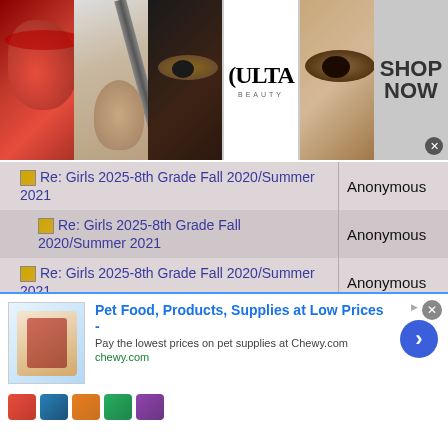[Figure (screenshot): Ulta Beauty advertisement banner with makeup photos, ULTA logo, and SHOP NOW call to action]
| Thread Title | Author |
| --- | --- |
| Re: Girls 2025-8th Grade Fall 2020/Summer 2021 | Anonymous |
| Re: Girls 2025-8th Grade Fall 2020/Summer 2021 | Anonymous |
| Re: Girls 2025-8th Grade Fall 2020/Summer 2021 | Anonymous |
| Re: Girls 2025-8th Grade Fall 2020/Summer 2021 | Anonymous |
| Re: Girls 2025-8th Grade Fall 2020/Summer 2021 | Anonymous |
| Re: Girls 2025-8th Grade Fall 2020/Summer 2021 | Anonymous |
[Figure (screenshot): Chewy.com advertisement: Pet Food, Products, Supplies at Low Prices - Pay the lowest prices on pet supplies at Chewy.com, chewy.com, with product images and arrow button]